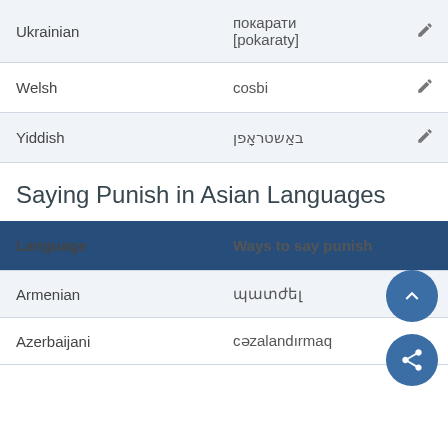| Language | Ways to say punish |
| --- | --- |
| Ukrainian | покарати [pokaraty] |
| Welsh | cosbi |
| Yiddish | באַשטראָפן |
Saying Punish in Asian Languages
| Language | Ways to say punish |
| --- | --- |
| Armenian | պատժել |
| Azerbaijani | cəzalandırmaq |